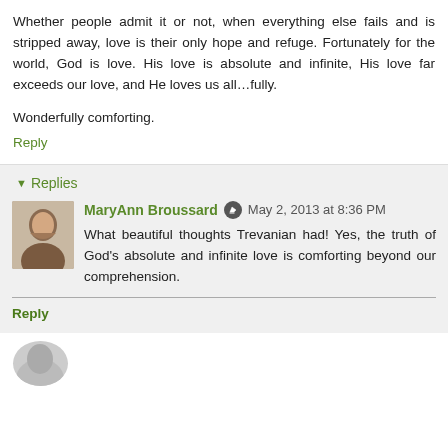Whether people admit it or not, when everything else fails and is stripped away, love is their only hope and refuge. Fortunately for the world, God is love. His love is absolute and infinite, His love far exceeds our love, and He loves us all…fully.
Wonderfully comforting.
Reply
Replies
MaryAnn Broussard  May 2, 2013 at 8:36 PM
What beautiful thoughts Trevanian had! Yes, the truth of God's absolute and infinite love is comforting beyond our comprehension.
Reply